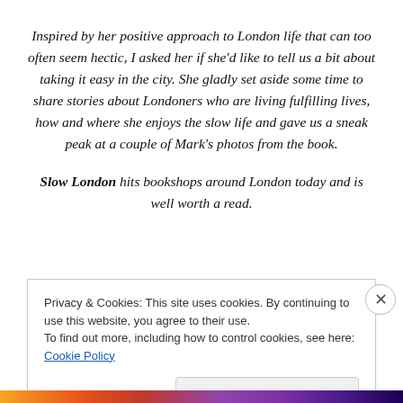Inspired by her positive approach to London life that can too often seem hectic, I asked her if she'd like to tell us a bit about taking it easy in the city. She gladly set aside some time to share stories about Londoners who are living fulfilling lives, how and where she enjoys the slow life and gave us a sneak peak at a couple of Mark's photos from the book.
Slow London hits bookshops around London today and is well worth a read.
Privacy & Cookies: This site uses cookies. By continuing to use this website, you agree to their use.
To find out more, including how to control cookies, see here: Cookie Policy